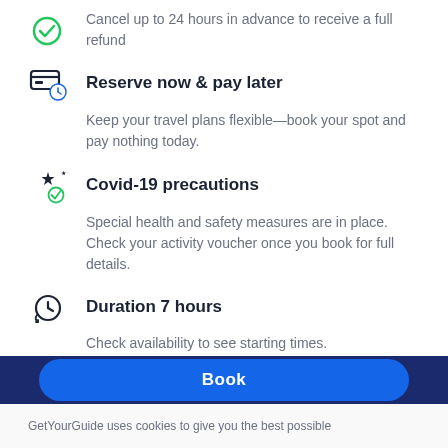Cancel up to 24 hours in advance to receive a full refund
Reserve now & pay later
Keep your travel plans flexible—book your spot and pay nothing today.
Covid-19 precautions
Special health and safety measures are in place. Check your activity voucher once you book for full details.
Duration 7 hours
Check availability to see starting times.
Live tour guide
English
Book
GetYourGuide uses cookies to give you the best possible